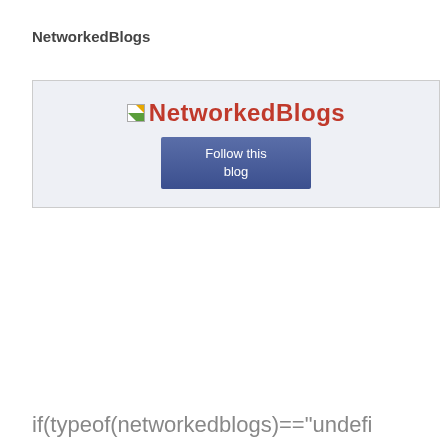NetworkedBlogs
[Figure (screenshot): NetworkedBlogs widget with logo text in red and a blue 'Follow this blog' button on a light grey background]
if(typeof(networkedblogs)=="undefi